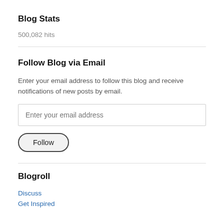Blog Stats
500,082 hits
Follow Blog via Email
Enter your email address to follow this blog and receive notifications of new posts by email.
Blogroll
Discuss
Get Inspired